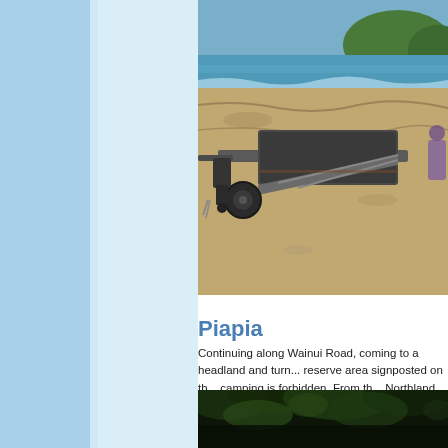[Figure (photo): Beach scene with a boat trailer on sandy shore, water and green headland visible in background, person visible at right edge]
Piapia
Continuing along Wainui Road, coming to a headland and turn... reserve area signposted on th... camping is forbidden. From th... Northland sand – Piapia Beac...
[Figure (photo): Dark jungle or dense forest canopy with light filtering through foliage]